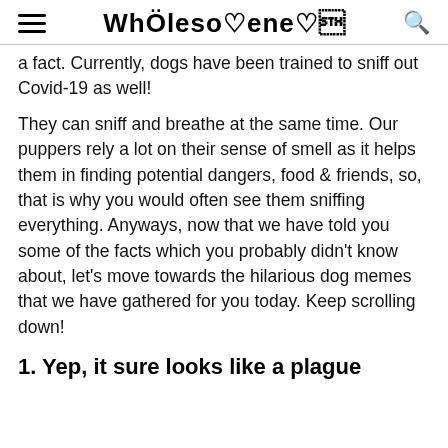WHOLESOMENESS
a fact. Currently, dogs have been trained to sniff out Covid-19 as well!
They can sniff and breathe at the same time. Our puppers rely a lot on their sense of smell as it helps them in finding potential dangers, food & friends, so, that is why you would often see them sniffing everything. Anyways, now that we have told you some of the facts which you probably didn't know about, let's move towards the hilarious dog memes that we have gathered for you today. Keep scrolling down!
1. Yep, it sure looks like a plague